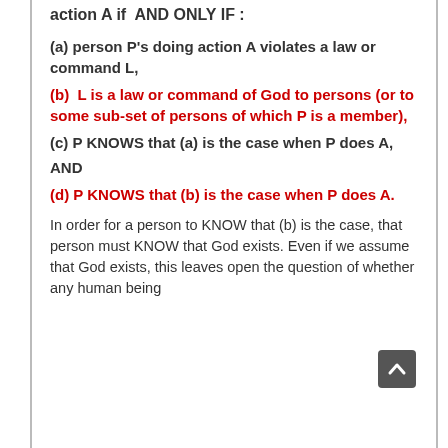action A if  AND ONLY IF :
(a) person P's doing action A violates a law or command L,
(b)  L is a law or command of God to persons (or to some sub-set of persons of which P is a member),
(c) P KNOWS that (a) is the case when P does A,
AND
(d) P KNOWS that (b) is the case when P does A.
In order for a person to KNOW that (b) is the case, that person must KNOW that God exists. Even if we assume that God exists, this leaves open the question of whether any human being